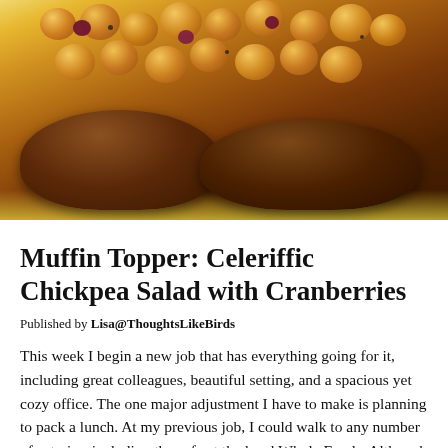[Figure (photo): Close-up photo of muffins topped with chickpea salad including cranberries and other ingredients, on a yellow/warm background]
Muffin Topper: Celeriffic Chickpea Salad with Cranberries
Published by Lisa@ThoughtsLikeBirds
This week I begin a new job that has everything going for it, including great colleagues, beautiful setting, and a spacious yet cozy office. The one major adjustment I have to make is planning to pack a lunch. At my previous job, I could walk to any number of eateries, including the cafe at the local Whole Foods. Although I aspired to bring my lunch on a regular basis, I knew I